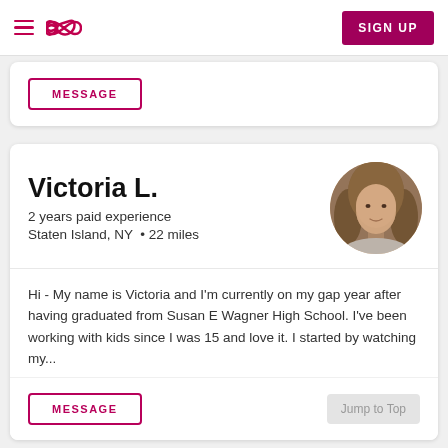Care.com navigation bar with hamburger menu, infinity logo, and SIGN UP button
MESSAGE
Victoria L.
2 years paid experience
Staten Island, NY  • 22 miles
[Figure (photo): Circular profile photo of Victoria L., a young woman with long blonde/brown hair]
Hi - My name is Victoria and I'm currently on my gap year after having graduated from Susan E Wagner High School. I've been working with kids since I was 15 and love it. I started by watching my...
MESSAGE
Jump to Top